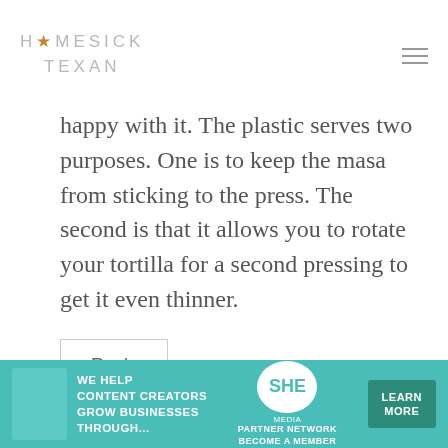HOMESICK TEXAN
happy with it. The plastic serves two purposes. One is to keep the masa from sticking to the press. The second is that it allows you to rotate your tortilla for a second pressing to get it even thinner.
Reply
Glen Spencer says:
[Figure (infographic): SHE partner network advertisement banner: teal background, text 'We help content creators grow businesses through...' with SHE logo and 'Learn More' button]